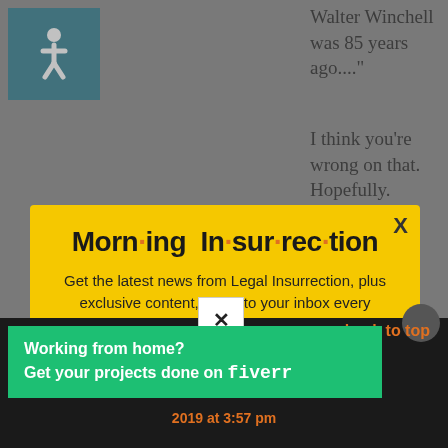[Figure (screenshot): Accessibility wheelchair icon in teal square]
Walter Winchell was 85 years ago...."
I think you're wrong on that. Hopefully.
Morn·ing In·sur·rec·tion
Get the latest news from Legal Insurrection, plus exclusive content, direct to your inbox every morning. Subscribe today – it's free!
JOIN NOW
[Figure (screenshot): X close button on dark background]
back to top
Working from home?
Get your projects done on fiverr
2019 at 3:57 pm